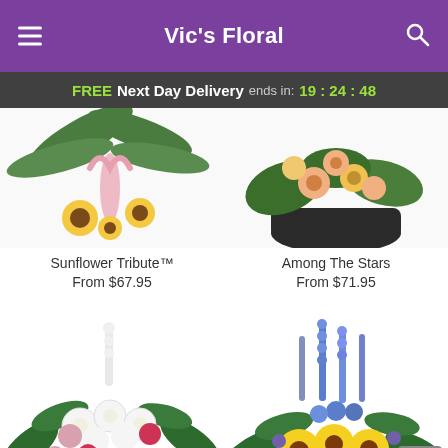Vic's Floral
FREE Next Day Delivery ends in: 19:24:48
[Figure (photo): Top portion of Sunflower Tribute floral arrangement with palm fronds and pink ribbon visible, cropped]
Sunflower Tribute™
From $67.95
[Figure (photo): Top portion of Among The Stars floral arrangement with peach/yellow flowers in dark bowl, cropped]
Among The Stars
From $71.95
[Figure (photo): White floral sympathy basket arrangement with pink and red carnations, white daisies and green ferns]
[Figure (photo): Yellow and blue floral sympathy arrangement with sunflowers, blue delphiniums and greenery]